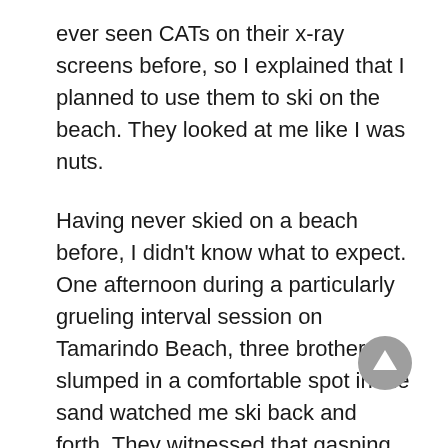ever seen CATs on their x-ray screens before, so I explained that I planned to use them to ski on the beach. They looked at me like I was nuts.
Having never skied on a beach before, I didn't know what to expect. One afternoon during a particularly grueling interval session on Tamarindo Beach, three brothers slumped in a comfortable spot in the sand watched me ski back and forth. They witnessed that gasping, bent over pole position that comes with the end of each interval. The “CAT” calls consisted of “Ándale, ándale, ándale!” “Bravo” and “Uno Mas!” It gave me the will to push on to an all time new maximum heart rate.
Hawaii brought thumbs up from surfers. More than